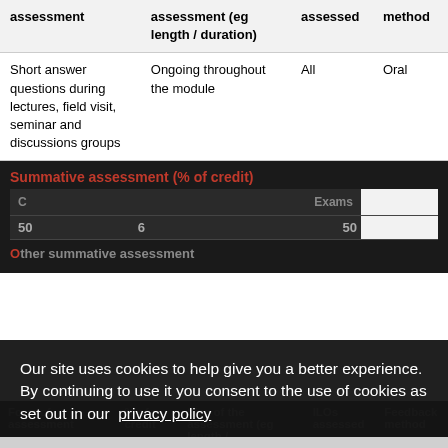| Form of assessment | Size of the assessment (eg length / duration) | ILOs assessed | Feedback method |
| --- | --- | --- | --- |
| Short answer questions during lectures, field visit, seminar and discussions groups | Ongoing throughout the module | All | Oral |
Summative assessment (% of credit)
| Form of assessment | % of credit | Size of the assessment (eg length / duration) | ILOs assessed | Feedback method |
| --- | --- | --- | --- | --- |
| 50 | 6 |  | 50 |  |
Other summative assessment
| Form of assessment | % of credit | Size of the assessment (eg length / duration) | ILOs assessed | Feedback method |
| --- | --- | --- | --- | --- |
Our site uses cookies to help give you a better experience. By continuing to use it you consent to the use of cookies as set out in our privacy policy
Close